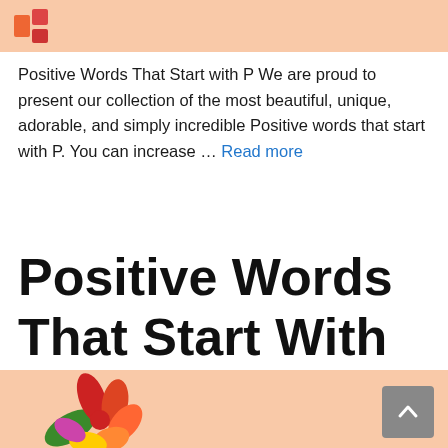[Figure (illustration): Top banner with peach/salmon background and a small colorful icon on the left]
Positive Words That Start with P We are proud to present our collection of the most beautiful, unique, adorable, and simply incredible Positive words that start with P. You can increase … Read more
Positive Words That Start With O
[Figure (illustration): Bottom banner with peach/salmon background showing a colorful flower illustration and partial text 'Positive Words' below, with a scroll-to-top button (gray rounded square with up chevron)]